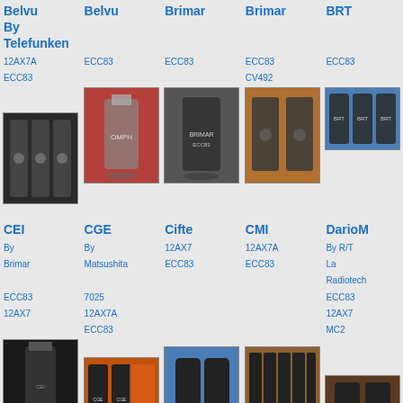Belvu By Telefunken
12AX7A ECC83
Belvu
ECC83
Brimar
ECC83
Brimar
ECC83 CV492
BRT
ECC83
CEI
By Brimar
ECC83 12AX7
CGE
By Matsushita
7025 12AX7A ECC83
Cifte
12AX7 ECC83
CMI
12AX7A ECC83
DarioM
By R/T La Radiotech
ECC83 12AX7 MC2
Daystrom
DMullard
Dynaco
Dynaco
Dynaco